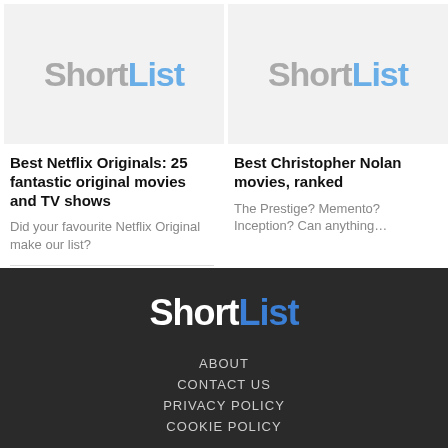[Figure (logo): ShortList logo placeholder image with grey background]
[Figure (logo): ShortList logo placeholder image with grey background]
Best Netflix Originals: 25 fantastic original movies and TV shows
Did your favourite Netflix Original make our list?
Best Christopher Nolan movies, ranked
The Prestige? Memento? Inception? Can anything...
[Figure (logo): ShortList footer logo in white and blue on dark background]
ABOUT
CONTACT US
PRIVACY POLICY
COOKIE POLICY